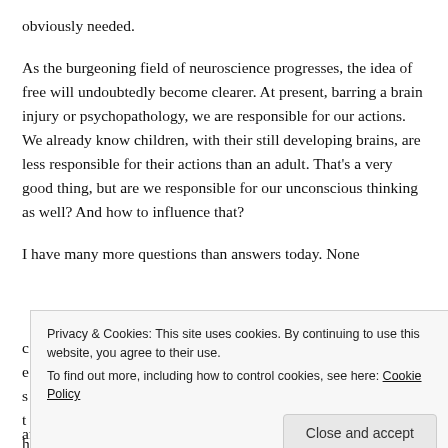obviously needed.
As the burgeoning field of neuroscience progresses, the idea of free will undoubtedly become clearer. At present, barring a brain injury or psychopathology, we are responsible for our actions. We already know children, with their still developing brains, are less responsible for their actions than an adult. That's a very good thing, but are we responsible for our unconscious thinking as well? And how to influence that?
I have many more questions than answers today. None
and less familiar doctor. Listen to the 11th Doctor's
Privacy & Cookies: This site uses cookies. By continuing to use this website, you agree to their use.
To find out more, including how to control cookies, see here: Cookie Policy